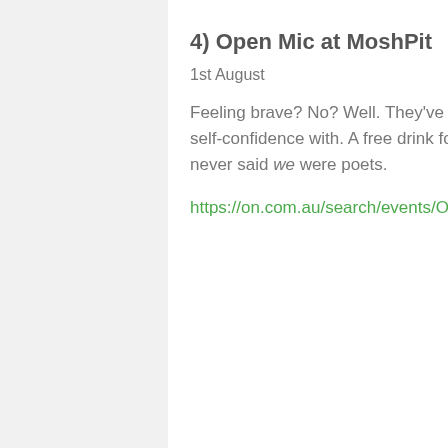4) Open Mic at MoshPit
1st August
Feeling brave? No? Well. They've got the tonic. Sign up for the grungiest open mic event you'll ever ravage your self-confidence with. A free drink for those with the cajones to revel their (secret) Tonys…ambitions. Hey. We never said we were poets.
https://on.com.au/search/events/Open-Mic-at-MoshPit/576a9830-8ef7-11e8-8b65-